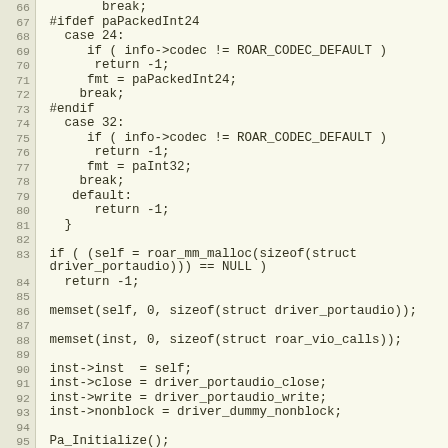[Figure (screenshot): Source code viewer showing C code lines 66-97 with line numbers in a beige/tan color scheme. Code includes switch-case logic for audio codec handling, memory allocation, and initialization calls.]